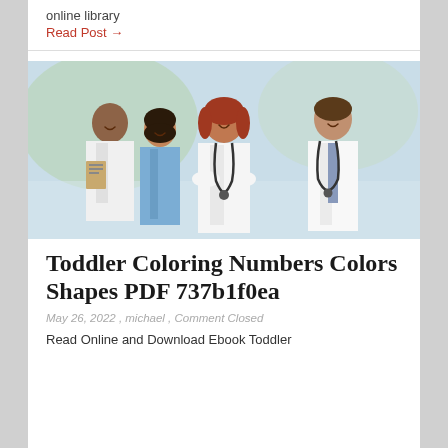online library
Read Post →
[Figure (photo): Four medical professionals (doctors and a nurse) smiling, wearing white coats and scrubs with stethoscopes, in a bright clinical environment.]
Toddler Coloring Numbers Colors Shapes PDF 737b1f0ea
May 26, 2022 , michael , Comment Closed
Read Online and Download Ebook Toddler